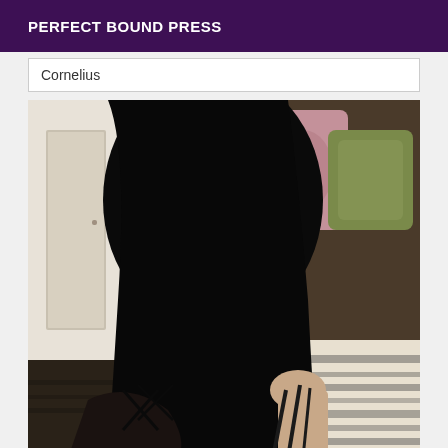PERFECT BOUND PRESS
Cornelius
[Figure (photo): A person with long straight black hair seen from behind, wearing a strappy black top, sitting near a decorative sofa with patterned cushions and zebra-print fabric, in an interior room setting.]